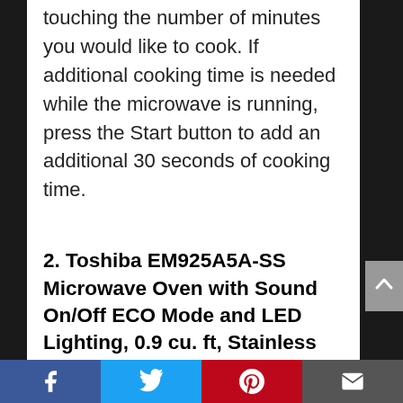touching the number of minutes you would like to cook. If additional cooking time is needed while the microwave is running, press the Start button to add an additional 30 seconds of cooking time.
2. Toshiba EM925A5A-SS Microwave Oven with Sound On/Off ECO Mode and LED Lighting, 0.9 cu. ft, Stainless Steel